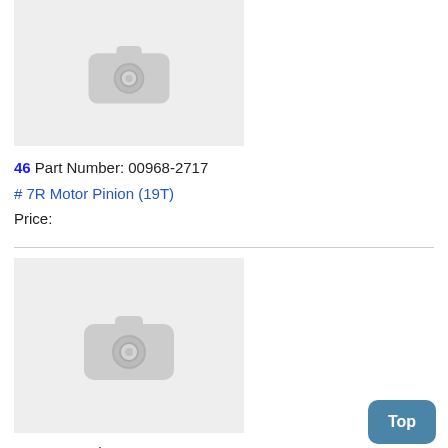[Figure (photo): Placeholder image with camera icon for part 46]
46 Part Number: 00968-2717
# 7R Motor Pinion (19T)
Price:
[Figure (photo): Placeholder image with camera icon for part 47]
47 Part Number: 00968-2820
# 7R Gearbox (18-19-20)
Price: